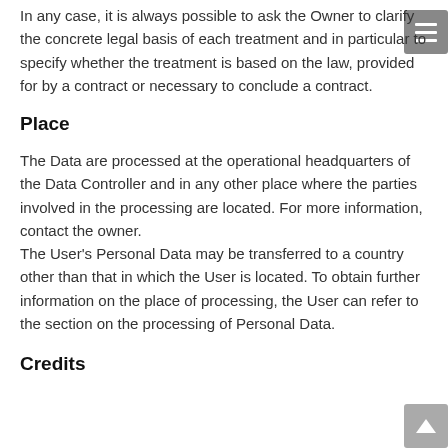In any case, it is always possible to ask the Owner to clarify the concrete legal basis of each treatment and in particular to specify whether the treatment is based on the law, provided for by a contract or necessary to conclude a contract.
Place
The Data are processed at the operational headquarters of the Data Controller and in any other place where the parties involved in the processing are located. For more information, contact the owner.
The User's Personal Data may be transferred to a country other than that in which the User is located. To obtain further information on the place of processing, the User can refer to the section on the processing of Personal Data.
Credits